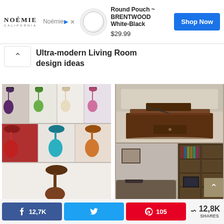[Figure (other): Advertisement banner: Noémie brand logo top-left, product image of Round Pouch BRENTWOOD White-Black circular bag, price $29.99, Shop Now blue button]
[Figure (other): Collapse/accordion arrow button pointing upward]
Ultra-modern Living Room design ideas
[Figure (photo): Collage of colorful curtain tassels and tie-backs in purple, green, white, pink, red, teal, orange, and brown colors]
[Figure (photo): Two interior design photos: top showing a dark wood lift-top coffee table with cream sofa, bottom showing a home library/entertainment room with bookshelves and TV]
[Figure (other): Scroll to top button]
[Figure (infographic): Social share bar with Facebook 12,7K shares, Twitter share button, Pinterest 105 shares, and total 12,8K SHARES count]